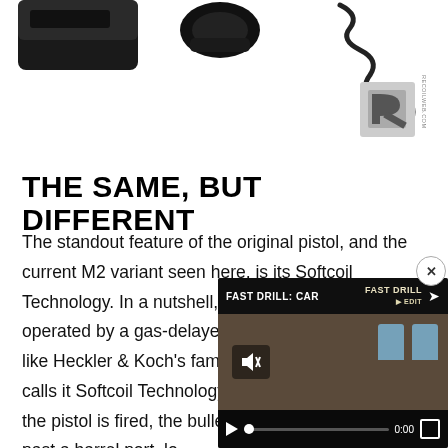[Figure (photo): Partial view of firearm components (pistol parts, spring/coil) on white background with recoilweb.com logo (stylized R) in upper right]
THE SAME, BUT DIFFERENT
The standout feature of the original pistol, and the current M2 variant seen here, is its Softcoil Technology. In a nutshell, the Walther CCP M2 is operated by a gas-delayed blowback system, just like Heckler & Koch's famed P7 series. Walther calls it Softcoil Technology. When the pistol is fired, the bullet gases travel past a barrel port, lo chamber. The gas is bled
[Figure (screenshot): Video overlay with title 'FAST DRILL: CAR' showing a shooting range scene with blue targets, play controls, and time 0:00]